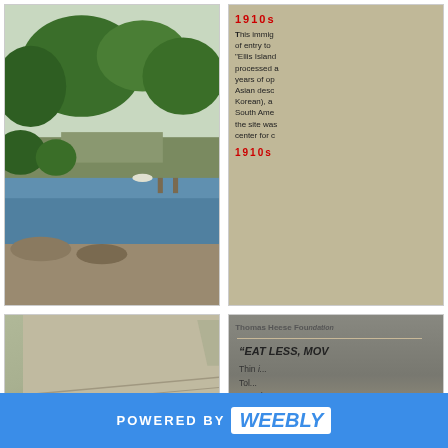[Figure (photo): Aerial view of Angel Island harbor showing water, dock, trees and boats]
[Figure (photo): Partial view of an immigration-related informational sign with red text at top and body text partially visible]
[Figure (photo): Close-up of carved stone reading IMMIGRATION STATION ANGEL ISLAND, CAL. 1910]
[Figure (photo): Thomas Heese Foundation sign with quote EAT LESS, MOV... and text about Thin, Tol, Laundrym, Happily Wedde, HIS LEGACY OF A]
[Figure (photo): Partial bottom-row photo left showing sky and trees]
[Figure (photo): Partial bottom-row photo right, mostly clipped]
POWERED BY weebly